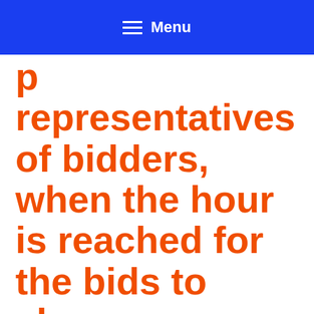Menu
representatives of bidders, when the hour is reached for the bids to close.
The Plattsmouth Community School District invites bids for a combined contract, including General Construction, Civil Work, Mechanical, and Electrical Work for a building addition and renovation to the